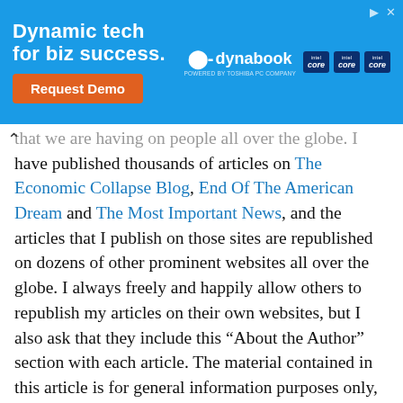[Figure (infographic): Advertisement banner for Dynabook with headline 'Dynamic tech for biz success.' and orange 'Request Demo' button, Intel Core chip logos on blue background.]
that we are having on people all over the globe.  I have published thousands of articles on The Economic Collapse Blog, End Of The American Dream and The Most Important News, and the articles that I publish on those sites are republished on dozens of other prominent websites all over the globe.  I always freely and happily allow others to republish my articles on their own websites, but I also ask that they include this “About the Author” section with each article.  The material contained in this article is for general information purposes only, and readers should consult licensed professionals before making any legal, business, financial or health decisions.  I encourage you to follow me on social media on Facebook, Twitter and Parler, and any way that you can share these articles with others is a great help.  During